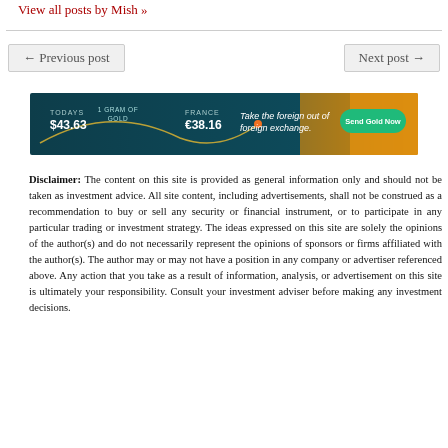View all posts by Mish »
[Figure (other): Advertisement banner: gold currency exchange service. Shows 'TODAYS $43.63', '1 GRAM OF GOLD', 'FRANCE €38.16'. Text reads 'Take the foreign out of foreign exchange.' Green button: 'Send Gold Now'.]
← Previous post
Next post →
Disclaimer: The content on this site is provided as general information only and should not be taken as investment advice. All site content, including advertisements, shall not be construed as a recommendation to buy or sell any security or financial instrument, or to participate in any particular trading or investment strategy. The ideas expressed on this site are solely the opinions of the author(s) and do not necessarily represent the opinions of sponsors or firms affiliated with the author(s). The author may or may not have a position in any company or advertiser referenced above. Any action that you take as a result of information, analysis, or advertisement on this site is ultimately your responsibility. Consult your investment adviser before making any investment decisions.